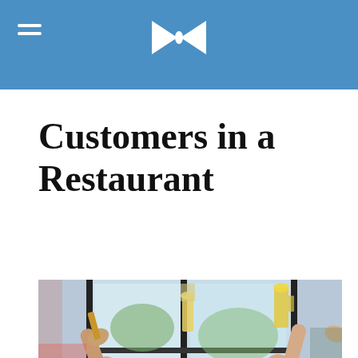Customers in a Restaurant
[Figure (photo): Group of people at a restaurant table raising beer glasses in a toast, with large windows in background]